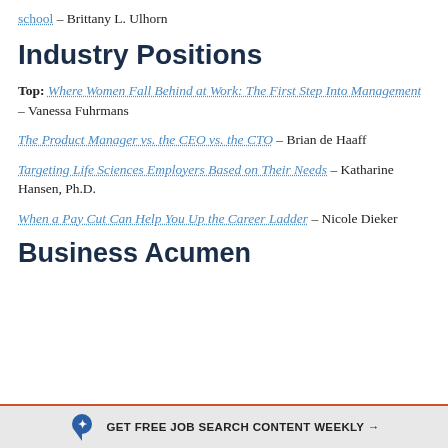school – Brittany L. Ulhorn
Industry Positions
Top: Where Women Fall Behind at Work: The First Step Into Management – Vanessa Fuhrmans
The Product Manager vs. the CEO vs. the CTO – Brian de Haaff
Targeting Life Sciences Employers Based on Their Needs – Katharine Hansen, Ph.D.
When a Pay Cut Can Help You Up the Career Ladder – Nicole Dieker
Business Acumen
GET FREE JOB SEARCH CONTENT WEEKLY →